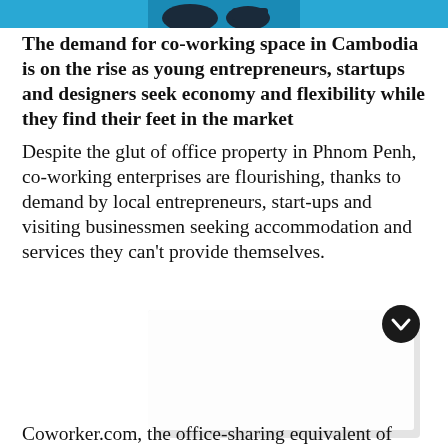[Figure (photo): Top portion of an image showing objects on a blue background, partially cropped]
The demand for co-working space in Cambodia is on the rise as young entrepreneurs, startups and designers seek economy and flexibility while they find their feet in the market
Despite the glut of office property in Phnom Penh, co-working enterprises are flourishing, thanks to demand by local entrepreneurs, start-ups and visiting businessmen seeking accommodation and services they can't provide themselves.
[Figure (photo): A white/light gray rectangular card or panel with shadow, partially visible, with a chevron down button in the top right corner]
Coworker.com, the office-sharing equivalent of Airbnb, lists 13